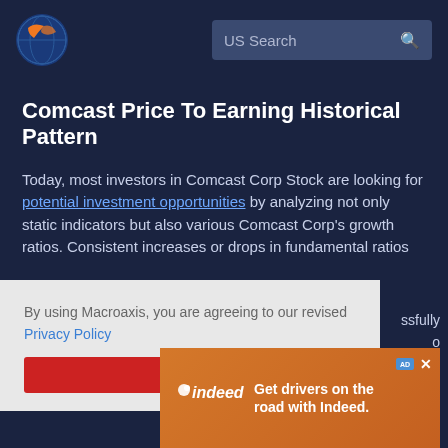US Search
Comcast Price To Earning Historical Pattern
Today, most investors in Comcast Corp Stock are looking for potential investment opportunities by analyzing not only static indicators but also various Comcast Corp's growth ratios. Consistent increases or drops in fundamental ratios
By using Macroaxis, you are agreeing to our revised Privacy Policy
[Figure (other): Indeed advertisement banner: Get drivers on the road with Indeed.]